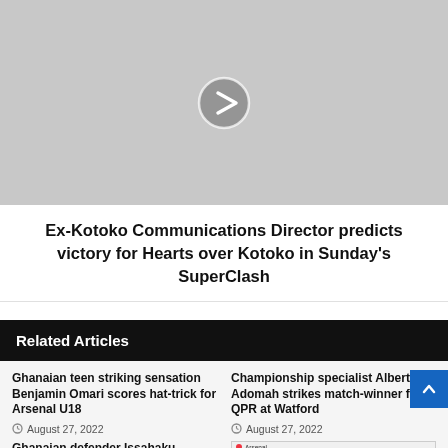[Figure (photo): Gray placeholder image with a white circular play/next button in the center]
Ex-Kotoko Communications Director predicts victory for Hearts over Kotoko in Sunday's SuperClash
Related Articles
Ghanaian teen striking sensation Benjamin Omari scores hat-trick for Arsenal U18
August 27, 2022
Championship specialist Albert Adomah strikes match-winner for QPR at Watford
August 27, 2022
Ghanaian defender Issahaku
[Figure (screenshot): Small scores/table screenshot showing Arsenal, Brentford, Manchester City results]